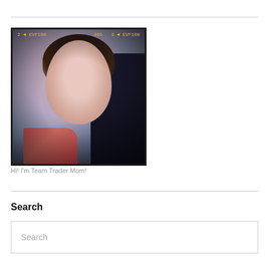[Figure (photo): Instagram-style selfie photo of a woman with dark hair, blue eyes, wearing a red plaid shirt and hoop earrings, smiling at camera. Photo has HUD overlay text reading '2 EVF100 465 3 EVF100' at the top in orange/yellow.]
Hi! I'm Team Trader Mom!
Search
Search